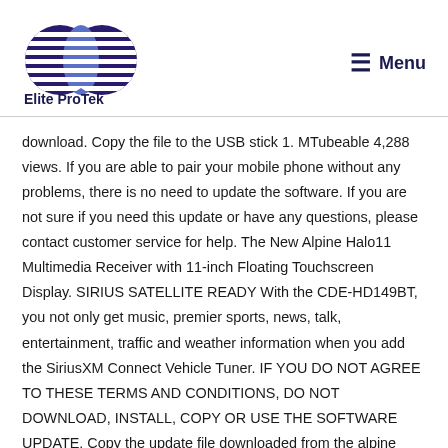[Figure (logo): Elite ProTek logo: two overlapping circles with horizontal stripe pattern in dark blue/purple, with company name 'Elite ProTek' in bold dark blue below]
≡  Menu
download. Copy the file to the USB stick 1. MTubeable 4,288 views. If you are able to pair your mobile phone without any problems, there is no need to update the software. If you are not sure if you need this update or have any questions, please contact customer service for help. The New Alpine Halo11 Multimedia Receiver with 11-inch Floating Touchscreen Display. SIRIUS SATELLITE READY With the CDE-HD149BT, you not only get music, premier sports, news, talk, entertainment, traffic and weather information when you add the SiriusXM Connect Vehicle Tuner. IF YOU DO NOT AGREE TO THESE TERMS AND CONDITIONS, DO NOT DOWNLOAD, INSTALL, COPY OR USE THE SOFTWARE UPDATE. Copy the update file downloaded from the alpine support website